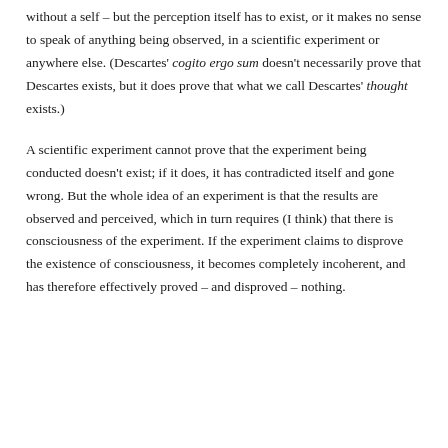without a self – but the perception itself has to exist, or it makes no sense to speak of anything being observed, in a scientific experiment or anywhere else. (Descartes' cogito ergo sum doesn't necessarily prove that Descartes exists, but it does prove that what we call Descartes' thought exists.)
A scientific experiment cannot prove that the experiment being conducted doesn't exist; if it does, it has contradicted itself and gone wrong. But the whole idea of an experiment is that the results are observed and perceived, which in turn requires (I think) that there is consciousness of the experiment. If the experiment claims to disprove the existence of consciousness, it becomes completely incoherent, and has therefore effectively proved – and disproved – nothing.